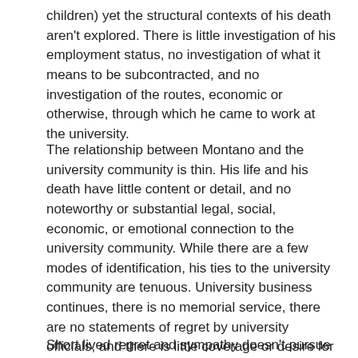children) yet the structural contexts of his death aren't explored. There is little investigation of his employment status, no investigation of what it means to be subcontracted, and no investigation of the routes, economic or otherwise, through which he came to work at the university.
The relationship between Montano and the university community is thin. His life and his death have little content or detail, and no noteworthy or substantial legal, social, economic, or emotional connection to the university community. While there are a few modes of identification, his ties to the university community are tenuous. University business continues, there is no memorial service, there are no statements of regret by university officials, and there is little coverage or desire for information about his life. The conditions of his employment, the conditions of his work, the details of the accident which killed him, and the routes through which he came to work at the university are not visible in accounts of his death.
Short lived regret and sympathy doesn't pursue what happened